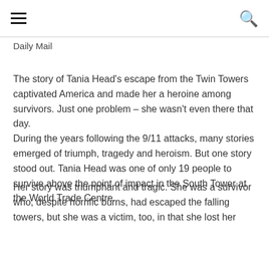≡  [hamburger menu]  [search icon]
Daily Mail
The story of Tania Head's escape from the Twin Towers captivated America and made her a heroine among survivors. Just one problem – she wasn't even there that day.
During the years following the 9/11 attacks, many stories emerged of triumph, tragedy and heroism. But one story stood out. Tania Head was one of only 19 people to survive above the point of impact in the South Tower at the World Trade Centre.
Her story was triumphant and tragic. She was a survivor who, despite horrific burns, had escaped the falling towers, but she was a victim, too, in that she lost her